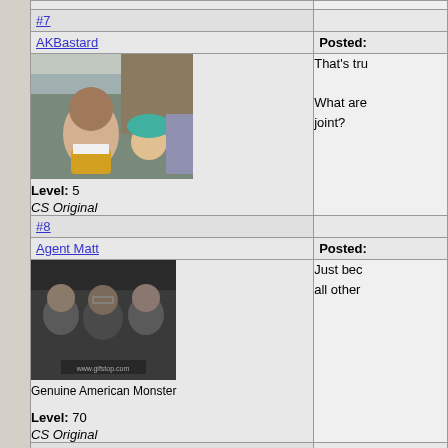| #7 |  |
| AKBastard | Posted: |
| [photo] Level: 5 CS Original | That's tru
What are joint? |
| #8 |  |
| Agent Matt | Posted: |
| [photo] Genuine American Monster Level: 70 CS Original | Just bec all other |
| #9 |  |